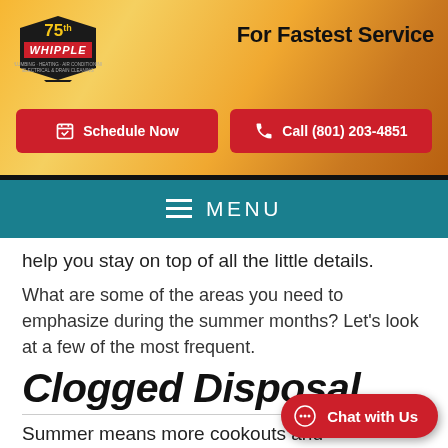[Figure (logo): Whipple Service Champions 75th anniversary logo with red and black hexagon badge]
For Fastest Service
Schedule Now
Call (801) 203-4851
MENU
help you stay on top of all the little details.
What are some of the areas you need to emphasize during the summer months? Let’s look at a few of the most frequent.
Clogged Disposal
Summer means more cookouts and